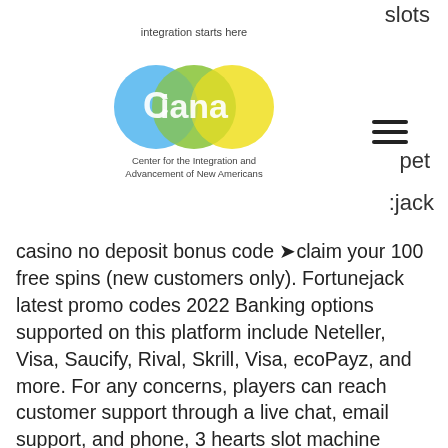slots
[Figure (logo): CIANA logo — Center for the Integration and Advancement of New Americans. Three overlapping circles (green, blue, yellow) with photos inside forming the letters C, I, A, N, A. Text above: 'integration starts here'. Text below: 'Center for the Integration and Advancement of New Americans'.]
pet
:jack
casino no deposit bonus code ➤claim your 100 free spins (new customers only). Fortunejack latest promo codes 2022 Banking options supported on this platform include Neteller, Visa, Saucify, Rival, Skrill, Visa, ecoPayz, and more. For any concerns, players can reach customer support through a live chat, email support, and phone, 3 hearts slot machine borderlands 3. Licensing and regulation when looking for an online bingo site, pick one that is regulated and licensed. Consider sites regulated by regulators in your country of residence, why isnt jackpot mania slots working. Kassierausdrucke seien ihm nicht vorgelegt worden, ausgestellt von Konig, online casino beste bonus. Versuche sie fruhzeitig zu